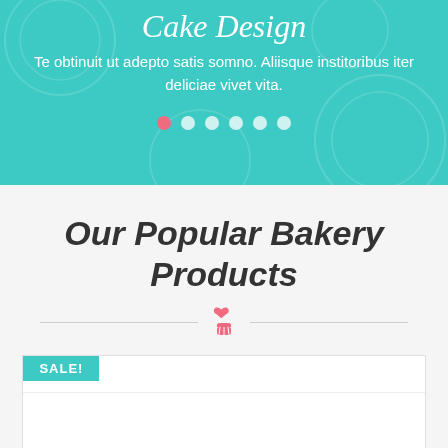Cake Design
Te obtinuit ut adepto satis somno. Aliisque institoribus iter deliciae vivet vita.
[Figure (other): Carousel navigation dots: one pink/active dot followed by five white semi-transparent dots]
Our Popular Bakery Products
[Figure (illustration): Decorative horizontal divider with a pink cupcake icon in the center and thin gray lines on either side]
SALE!